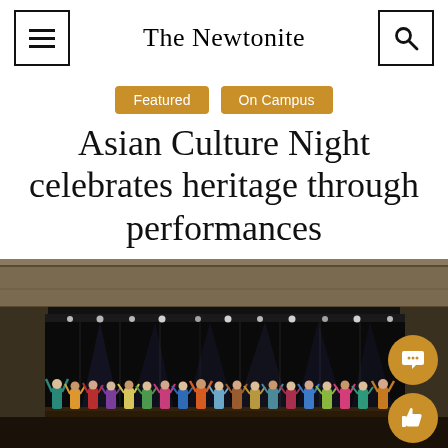The Newtonite
Featured | On Campus
Asian Culture Night celebrates heritage through performances
[Figure (photo): A theater stage scene showing performers lined up on stage with dramatic lighting — stage lights along the ceiling illuminate a dark curtain backdrop, with a group of performers in colorful costumes standing at the front of the stage with arms raised.]